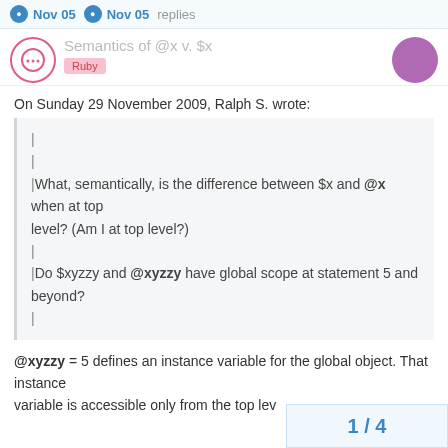Semantics of @x v. $x — Ruby
On Sunday 29 November 2009, Ralph S. wrote:
|
|
|What, semantically, is the difference between $x and @x when at top
|level? (Am I at top level?)
|
|Do $xyzzy and @xyzzy have global scope at statement 5 and beyond?
|
@xyzzy = 5 defines an instance variable for the global object. That
instance
variable is accessible only from the top lev